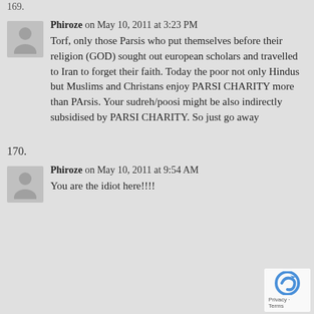169.
Phiroze on May 10, 2011 at 3:23 PM
Torf, only those Parsis who put themselves before their religion (GOD) sought out european scholars and travelled to Iran to forget their faith. Today the poor not only Hindus but Muslims and Christans enjoy PARSI CHARITY more than PArsis. Your sudreh/poosi might be also indirectly subsidised by PARSI CHARITY. So just go away
170.
Phiroze on May 10, 2011 at 9:54 AM
You are the idiot here!!!!